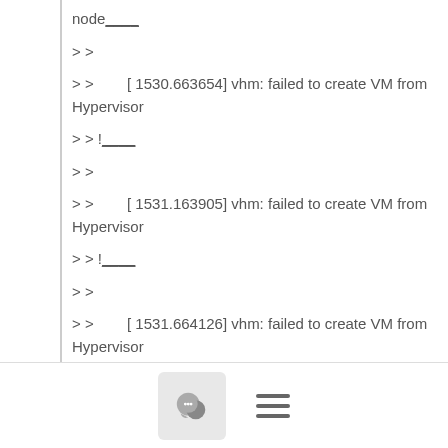node____
> >
> >        [ 1530.663654] vhm: failed to create VM from Hypervisor
> > !____
> >
> >        [ 1531.163905] vhm: failed to create VM from Hypervisor
> > !____
> >
> >        [ 1531.664126] vhm: failed to create VM from Hypervisor
> > !____
> >